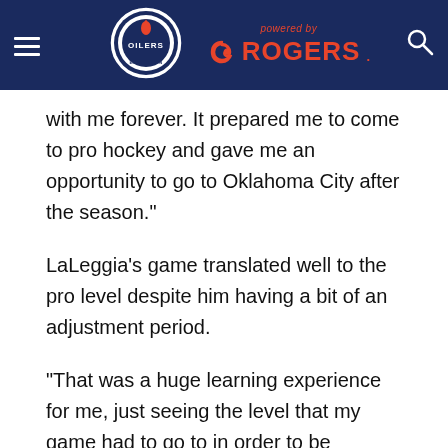[Figure (logo): Edmonton Oilers website header with Oilers logo, Rogers powered by branding, hamburger menu and search icon on navy blue background]
with me forever. It prepared me to come to pro hockey and gave me an opportunity to go to Oklahoma City after the season."
LaLeggia's game translated well to the pro level despite him having a bit of an adjustment period.
“That was a huge learning experience for me, just seeing the level that my game had to go to in order to be successful."
He played five regular season games, netting a goal and an assist for two points and also suited up for two playoff contests. LaLeggia looks to play a much bigger role next